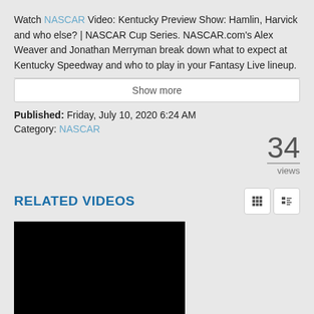Watch NASCAR Video: Kentucky Preview Show: Hamlin, Harvick and who else? | NASCAR Cup Series. NASCAR.com's Alex Weaver and Jonathan Merryman break down what to expect at Kentucky Speedway and who to play in your Fantasy Live lineup.
Show more
Published: Friday, July 10, 2020 6:24 AM
Category: NASCAR
34 views
RELATED VIDEOS
[Figure (screenshot): Black video thumbnail placeholder]
Preview Show: Ryan Blaney or Kevin Harvick at Phoenix? | NASCAR Cup Series